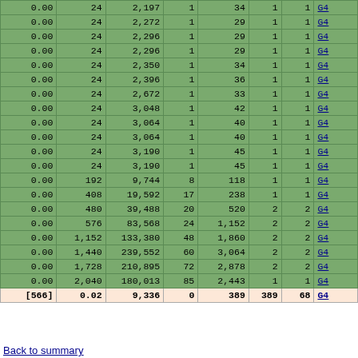| Col0 | 0.00col | col2 | col3 | col4 | col5 | col6 | G4-link |
| --- | --- | --- | --- | --- | --- | --- | --- |
| 0.00 | 24 | 2,197 | 1 | 34 | 1 | 1 | G4 |
| 0.00 | 24 | 2,272 | 1 | 29 | 1 | 1 | G4 |
| 0.00 | 24 | 2,296 | 1 | 29 | 1 | 1 | G4 |
| 0.00 | 24 | 2,296 | 1 | 29 | 1 | 1 | G4 |
| 0.00 | 24 | 2,350 | 1 | 34 | 1 | 1 | G4 |
| 0.00 | 24 | 2,396 | 1 | 36 | 1 | 1 | G4 |
| 0.00 | 24 | 2,672 | 1 | 33 | 1 | 1 | G4 |
| 0.00 | 24 | 3,048 | 1 | 42 | 1 | 1 | G4 |
| 0.00 | 24 | 3,064 | 1 | 40 | 1 | 1 | G4 |
| 0.00 | 24 | 3,064 | 1 | 40 | 1 | 1 | G4 |
| 0.00 | 24 | 3,190 | 1 | 45 | 1 | 1 | G4 |
| 0.00 | 24 | 3,190 | 1 | 45 | 1 | 1 | G4 |
| 0.00 | 192 | 9,744 | 8 | 118 | 1 | 1 | G4 |
| 0.00 | 408 | 19,592 | 17 | 238 | 1 | 1 | G4 |
| 0.00 | 480 | 39,488 | 20 | 520 | 2 | 2 | G4 |
| 0.00 | 576 | 83,568 | 24 | 1,152 | 2 | 2 | G4 |
| 0.00 | 1,152 | 133,380 | 48 | 1,860 | 2 | 2 | G4 |
| 0.00 | 1,440 | 239,552 | 60 | 3,064 | 2 | 2 | G4 |
| 0.00 | 1,728 | 210,895 | 72 | 2,878 | 2 | 2 | G4 |
| 0.00 | 2,040 | 180,013 | 85 | 2,443 | 1 | 1 | G4 |
| [566] | 0.02 | 9,336 | 0 | 389 | 389 | 68 | 68 |
Back to summary